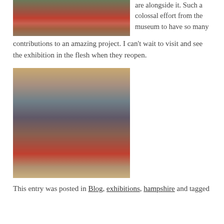[Figure (photo): Photo of museum display with red poppies and memorabilia on a table with rope border]
are alongside it. Such a colossal effort from the museum to have so many contributions to an amazing project. I can't wait to visit and see the exhibition in the flesh when they reopen.
[Figure (photo): Photo of museum interior with aircraft suspended from ceiling, surrounded by miniature soldier figurines and red poppies]
This entry was posted in Blog, exhibitions, hampshire and tagged